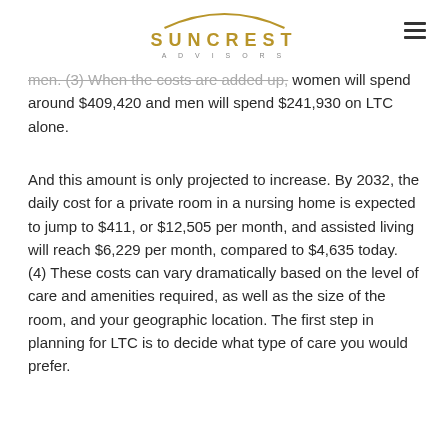SUNCREST ADVISORS
men. (3) When the costs are added up, women will spend around $409,420 and men will spend $241,930 on LTC alone.
And this amount is only projected to increase. By 2032, the daily cost for a private room in a nursing home is expected to jump to $411, or $12,505 per month, and assisted living will reach $6,229 per month, compared to $4,635 today. (4) These costs can vary dramatically based on the level of care and amenities required, as well as the size of the room, and your geographic location. The first step in planning for LTC is to decide what type of care you would prefer.